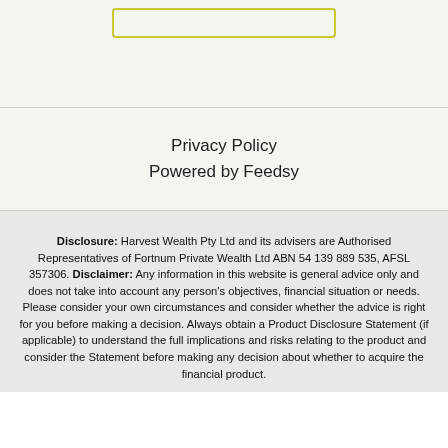[Figure (other): Rounded rectangle button outline with olive/yellow-green border]
Privacy Policy
Powered by Feedsy
Disclosure: Harvest Wealth Pty Ltd and its advisers are Authorised Representatives of Fortnum Private Wealth Ltd ABN 54 139 889 535, AFSL 357306. Disclaimer: Any information in this website is general advice only and does not take into account any person's objectives, financial situation or needs. Please consider your own circumstances and consider whether the advice is right for you before making a decision. Always obtain a Product Disclosure Statement (if applicable) to understand the full implications and risks relating to the product and consider the Statement before making any decision about whether to acquire the financial product.